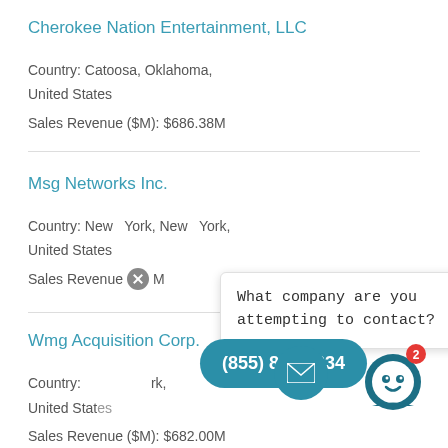Cherokee Nation Entertainment, LLC
Country: Catoosa, Oklahoma, United States
Sales Revenue ($M): $686.38M
Msg Networks Inc.
Country: New  York, New  York, United States
Sales Revenue ($M):
What company are you attempting to contact?
Wmg Acquisition Corp.
Country: New York, United States
Sales Revenue ($M): $682.00M